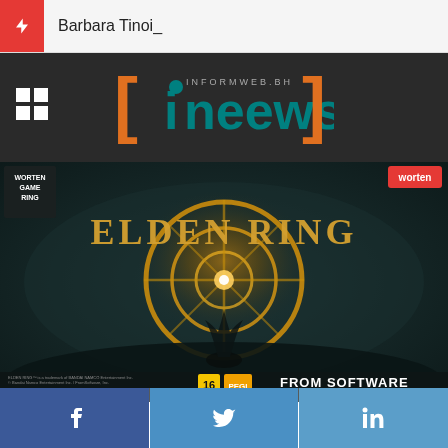Barbara Tinoi_
[Figure (logo): ineews website logo with orange brackets and teal text on dark background]
[Figure (photo): Elden Ring game promotional cover art showing glowing golden ring symbol against dark fantasy landscape with character silhouette, worten game ring badge, worten logo, age rating 16, FROM SOFTWARE branding]
Facebook Twitter LinkedIn social share buttons